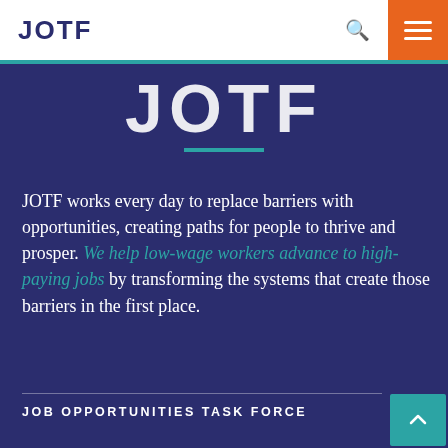JOTF
[Figure (logo): JOTF large hero logo text in white on dark blue background with teal underline]
JOTF works every day to replace barriers with opportunities, creating paths for people to thrive and prosper. We help low-wage workers advance to high-paying jobs by transforming the systems that create those barriers in the first place.
JOB OPPORTUNITIES TASK FORCE